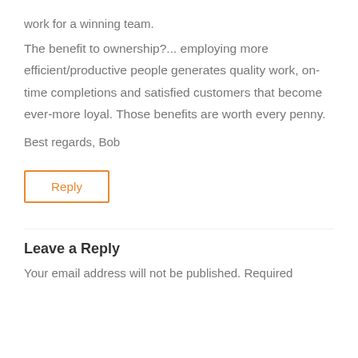work for a winning team.
The benefit to ownership?... employing more efficient/productive people generates quality work, on-time completions and satisfied customers that become ever-more loyal. Those benefits are worth every penny.
Best regards, Bob
Reply
Leave a Reply
Your email address will not be published. Required